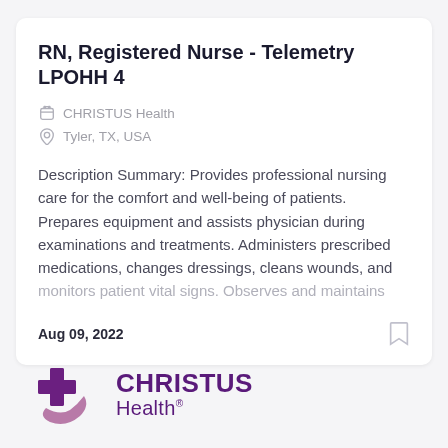RN, Registered Nurse - Telemetry LPOHH 4
CHRISTUS Health
Tyler, TX, USA
Description Summary: Provides professional nursing care for the comfort and well-being of patients. Prepares equipment and assists physician during examinations and treatments. Administers prescribed medications, changes dressings, cleans wounds, and monitors patient vital signs. Observes and maintains
Aug 09, 2022
[Figure (logo): CHRISTUS Health logo with cross symbol in purple and mauve colors]